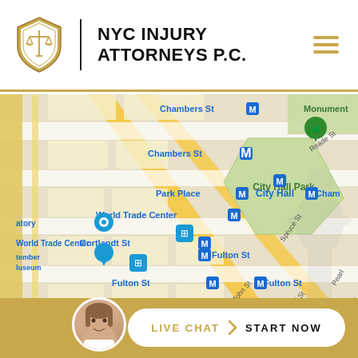NYC Injury Attorneys P.C.
[Figure (map): Google Maps view of Lower Manhattan showing City Hall area with labeled streets: Chambers St, Park Place, World Trade Center, Cortlandt St, Fulton St, City Hall, City Hall Park, Reade St, Spruce St, John St, Cliff St, Pearl St, and subway station markers.]
[Figure (infographic): Live chat button bar at the bottom with a circular avatar photo of a smiling woman, a white pill-shaped button reading LIVE CHAT with chevron and START NOW text, on a gold background.]